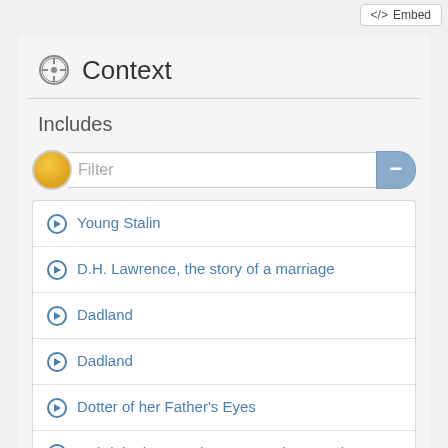<> Embed
Context
Includes
Young Stalin
D.H. Lawrence, the story of a marriage
Dadland
Dadland
Dotter of her Father's Eyes
Gabriele d'Annunzio : poet, seducer and preacher of war
Georgiana, Duchess of Devonshire